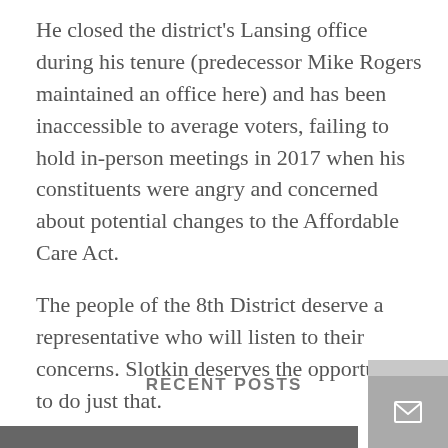He closed the district's Lansing office during his tenure (predecessor Mike Rogers maintained an office here) and has been inaccessible to average voters, failing to hold in-person meetings in 2017 when his constituents were angry and concerned about potential changes to the Affordable Care Act.
The people of the 8th District deserve a representative who will listen to their concerns. Slotkin deserves the opportunity to do just that.
– an LSJ editorial
RECENT POSTS